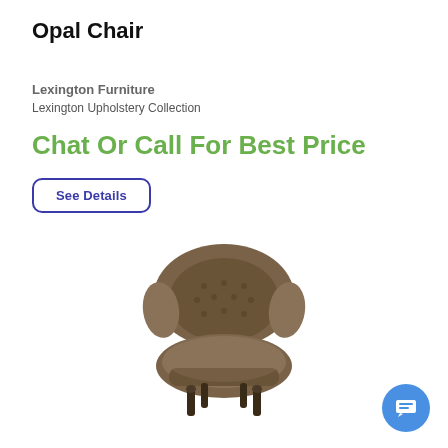Opal Chair
Lexington Furniture
Lexington Upholstery Collection
Chat Or Call For Best Price
See Details
[Figure (photo): Opal Chair — a tufted upholstered armchair with rolled back, brown fabric, and dark turned wooden legs]